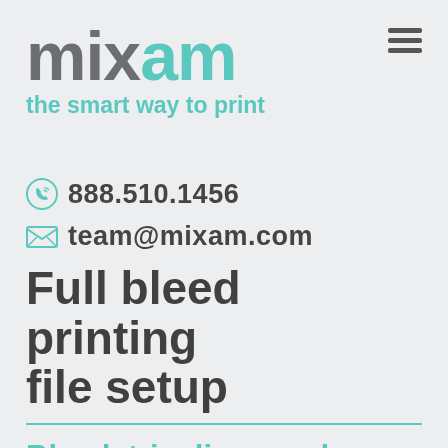[Figure (logo): Mixam logo with 'mix' in gray and 'am' in teal, with tagline 'the smart way to print' in teal below]
888.510.1456
team@mixam.com
Full bleed printing file setup
Bleed, trim lines and gutter areas are key features in